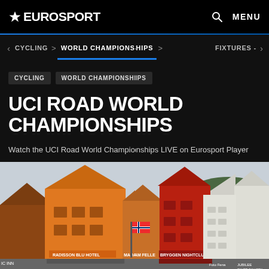EUROSPORT
CYCLING > WORLD CHAMPIONSHIPS > FIXTURES -
CYCLING  WORLD CHAMPIONSHIPS
UCI ROAD WORLD CHAMPIONSHIPS
Watch the UCI Road World Championships LIVE on Eurosport Player
[Figure (photo): Bergen Bryggen colorful wooden houses waterfront scene with Norwegian flag, showing buildings including Radisson Blu Hotel, Madam Felle, Bryggen Nightclub signs]